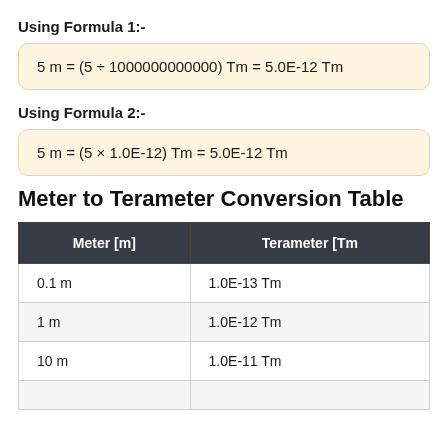Using Formula 1:-
Using Formula 2:-
Meter to Terameter Conversion Table
| Meter [m] | Terameter [Tm] |
| --- | --- |
| 0.1 m | 1.0E-13 Tm |
| 1 m | 1.0E-12 Tm |
| 10 m | 1.0E-11 Tm |